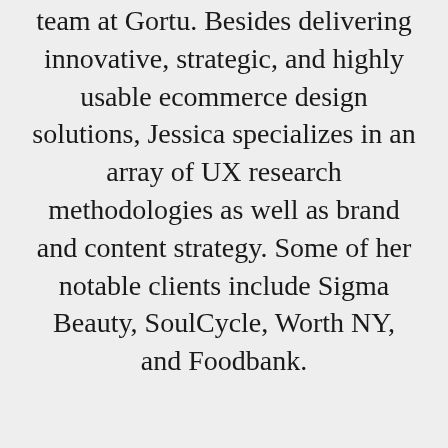team at Gortu. Besides delivering innovative, strategic, and highly usable ecommerce design solutions, Jessica specializes in an array of UX research methodologies as well as brand and content strategy. Some of her notable clients include Sigma Beauty, SoulCycle, Worth NY, and Foodbank.